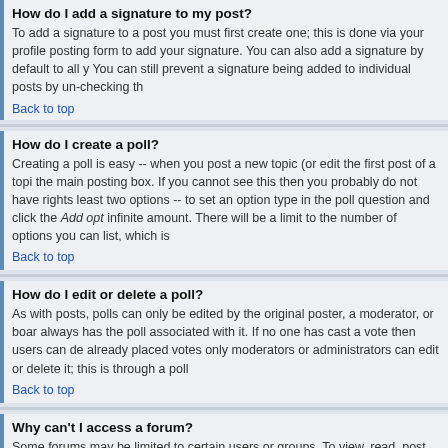How do I add a signature to my post?
To add a signature to a post you must first create one; this is done via your profile posting form to add your signature. You can also add a signature by default to all y You can still prevent a signature being added to individual posts by un-checking th
Back to top
How do I create a poll?
Creating a poll is easy -- when you post a new topic (or edit the first post of a topi the main posting box. If you cannot see this then you probably do not have rights least two options -- to set an option type in the poll question and click the Add opt infinite amount. There will be a limit to the number of options you can list, which is
Back to top
How do I edit or delete a poll?
As with posts, polls can only be edited by the original poster, a moderator, or boar always has the poll associated with it. If no one has cast a vote then users can de already placed votes only moderators or administrators can edit or delete it; this is through a poll
Back to top
Why can't I access a forum?
Some forums may be limited to certain users or groups. To view, read, post, etc. y moderator and board administrator can grant, so you should contact them.
Back to top
Why can't I vote in polls?